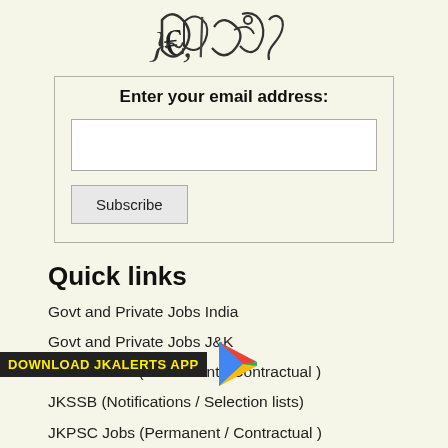[Figure (illustration): Captcha image with handwritten-style characters]
Enter your email address:
[Figure (screenshot): Email input text box]
[Figure (screenshot): Subscribe button]
Quick links
Govt and Private Jobs India
Govt and Private Jobs J&K
JKSSB Jobs (Permanent / Contractual )
JKSSB (Notifications / Selection lists)
JKPSC Jobs (Permanent / Contractual )
JKPSC (Notifications / Selection lists)
[Figure (logo): Download JKAlerts App banner with Google Play icon]